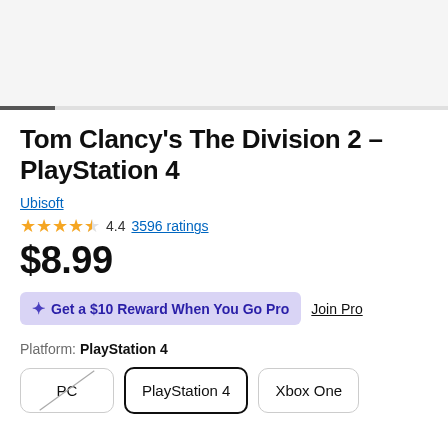Tom Clancy's The Division 2 - PlayStation 4
Ubisoft
4.4  3596 ratings
$8.99
✦ Get a $10 Reward When You Go Pro  Join Pro
Platform: PlayStation 4
PC  PlayStation 4  Xbox One